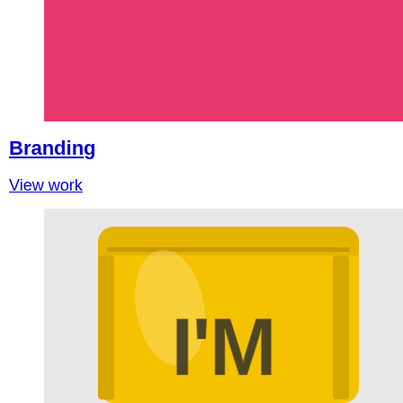[Figure (photo): Solid hot pink/magenta colored rectangular image filling the upper right portion of the page]
Branding
View work
[Figure (photo): A yellow branded packaging pouch/bag with the text I'M printed on it in dark halftone style lettering, photographed on a light grey background]